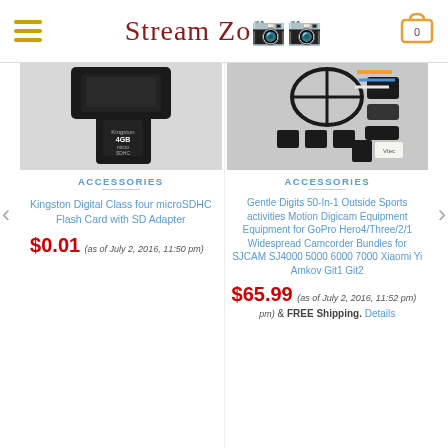Stream Zoo
[Figure (photo): Kingston microSDHC 4GB memory card product photo]
ACCESSORIES
Kingston Digital Class four microSDHC Flash Card with SD Adapter
$0.01 (as of July 2, 2016, 11:50 pm)
[Figure (photo): GoPro action camera 50-in-1 accessories kit product photo]
ACCESSORIES
Gentle Digits 50-In-1 Outside Sports activities Motion Digicam Equipment Equipment for GoPro Hero4/Three/2/1 Widespread Camcorder Bundles for SJCAM SJ4000 5000 6000 7000 Xiaomi Yi Amkov Git1 Git2
$65.99 (as of July 2, 2016, 11:52 pm) & FREE Shipping. Details